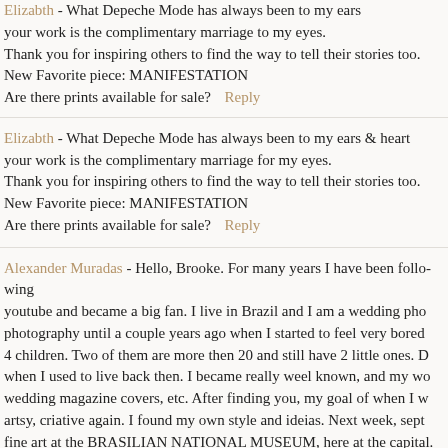Elizabth - What Depeche Mode has always been to my ears your work is the complimentary marriage to my eyes. Thank you for inspiring others to find the way to tell their stories too. New Favorite piece: MANIFESTATION Are there prints available for sale?  Reply
Elizabth - What Depeche Mode has always been to my ears & heart your work is the complimentary marriage for my eyes. Thank you for inspiring others to find the way to tell their stories too. New Favorite piece: MANIFESTATION Are there prints available for sale?  Reply
Alexander Muradas - Hello, Brooke. For many years I have been following you on youtube and became a big fan. I live in Brazil and I am a wedding photographer until a couple years ago when I started to feel very bored. I have 4 children. Two of them are more then 20 and still have 2 little ones. Do you know when I used to live back then. I became really weel known, and my work appeared on wedding magazine covers, etc. After finding you, my goal of when I want to be artsy, criative again. I found my own style and ideias. Next week, sept I will show fine art at the BRASILIAN NATIONAL MUSEUM, here at the capital. I am very proud and honnered this time. I just wanted to let you know, because I don't exprees myself very well in inglish, but I want it to say thank you.